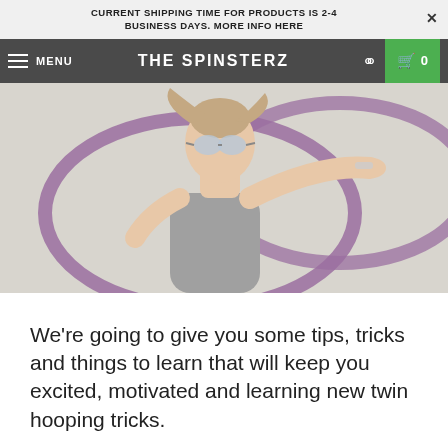CURRENT SHIPPING TIME FOR PRODUCTS IS 2-4 BUSINESS DAYS. MORE INFO HERE
MENU THE SPINSTERZ 0
[Figure (photo): Woman with dreadlocks and mirrored sunglasses spinning purple hula hoops, wearing a grey tank top, photographed from low angle against a light background.]
We're going to give you some tips, tricks and things to learn that will keep you excited, motivated and learning new twin hooping tricks.